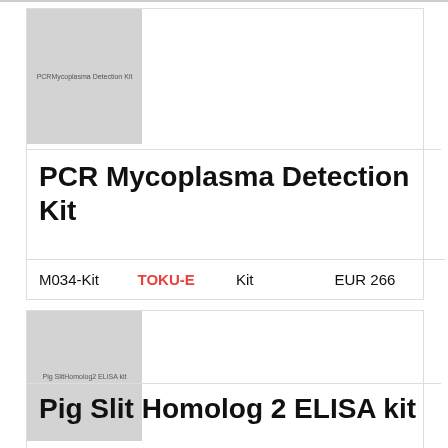[Figure (photo): Product image placeholder for PCR Mycoplasma Detection Kit, gray box with label text]
PCR Mycoplasma Detection Kit
M034-Kit   TOKU-E   Kit   EUR 266
[Figure (photo): Product image placeholder for Pig Slit Homolog 2 ELISA kit, gray box with label text]
Pig Slit Homolog 2 ELISA kit